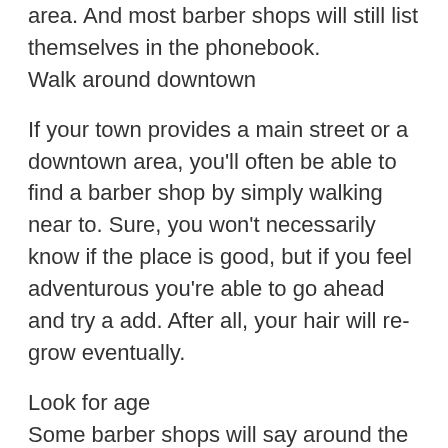area. And most barber shops will still list themselves in the phonebook.
Walk around downtown
If your town provides a main street or a downtown area, you'll often be able to find a barber shop by simply walking near to. Sure, you won't necessarily know if the place is good, but if you feel adventurous you're able to go ahead and try a add. After all, your hair will re-grow eventually.
Look for age
Some barber shops will say around the storefront what year they opened. barber shop has been known for 20 years, which makes it probably